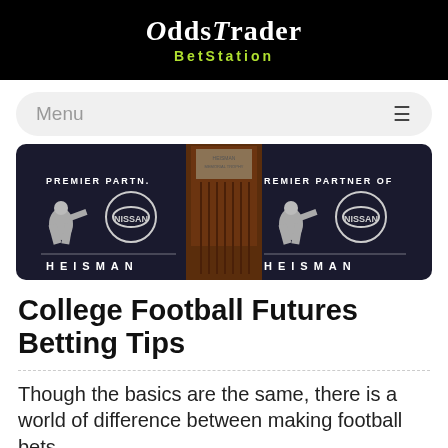OddsTrader BetStation
[Figure (photo): Heisman Trophy award display with Nissan premier partner branding on dark background, showing duplicate trophy views flanking a central wooden pedestal]
College Football Futures Betting Tips
Though the basics are the same, there is a world of difference between making football bets